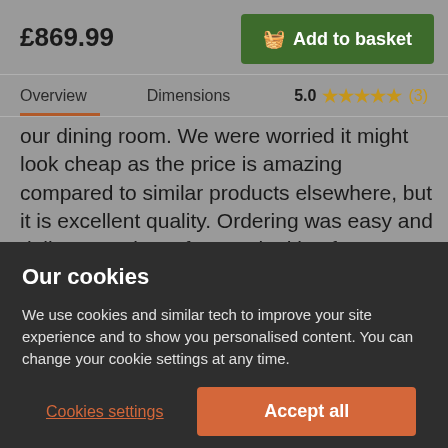£869.99
Add to basket
Overview
Dimensions
5.0 ★★★★★ (3)
our dining room. We were worried it might look cheap as the price is amazing compared to similar products elsewhere, but it is excellent quality. Ordering was easy and delivery on time. If you're looking for a beautiful dining set which won't require a bank robbery we'd highly recommend Furniture Choice.
Our cookies
We use cookies and similar tech to improve your site experience and to show you personalised content. You can change your cookie settings at any time.
Cookies settings
Accept all